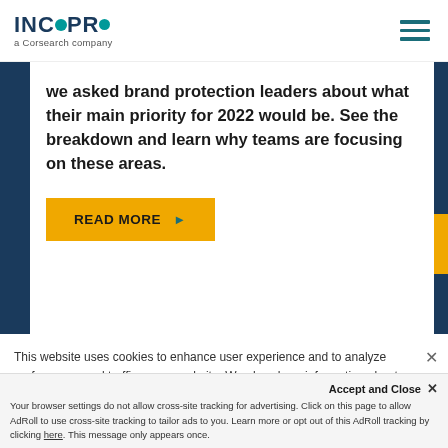INCOPRO a Corsearch company
we asked brand protection leaders about what their main priority for 2022 would be. See the breakdown and learn why teams are focusing on these areas.
READ MORE ▶
This website uses cookies to enhance user experience and to analyze performance and traffic on our website. We also share information about your use of our site with our social media, advertising and analytics partners.
Accept and Close ✕
Your browser settings do not allow cross-site tracking for advertising. Click on this page to allow AdRoll to use cross-site tracking to tailor ads to you. Learn more or opt out of this AdRoll tracking by clicking here. This message only appears once.